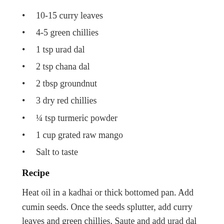10-15 curry leaves
4-5 green chillies
1 tsp urad dal
2 tsp chana dal
2 tbsp groundnut
3 dry red chillies
¼ tsp turmeric powder
1 cup grated raw mango
Salt to taste
Recipe
Heat oil in a kadhai or thick bottomed pan. Add cumin seeds. Once the seeds splutter, add curry leaves and green chillies. Saute and add urad dal and chana dal. Sauté and cook for 1 min or till the dals are lightly browned. Add groundnut and dry red chillies. Cook for